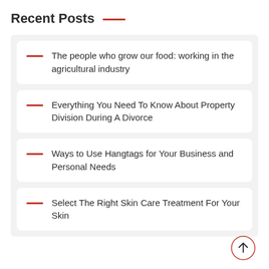Recent Posts
The people who grow our food: working in the agricultural industry
Everything You Need To Know About Property Division During A Divorce
Ways to Use Hangtags for Your Business and Personal Needs
Select The Right Skin Care Treatment For Your Skin